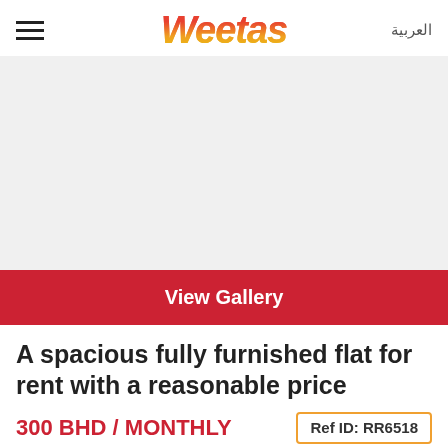Weetas | العربية
[Figure (photo): Large property photo placeholder area (white/light gray)]
View Gallery
A spacious fully furnished flat for rent with a reasonable price
300 BHD / MONTHLY
Ref ID: RR6518